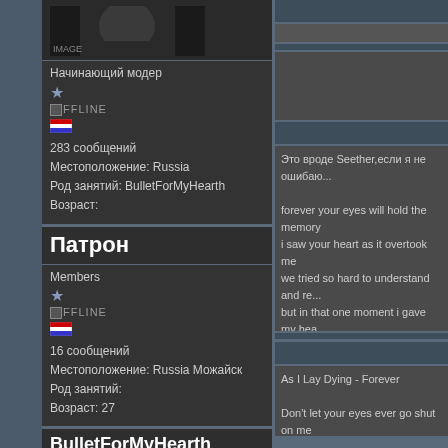[Figure (photo): Profile photo of a user (dark-haired person)]
Начинающий модер
★
OFFLINE
🇷🇺
283 сообщений
Местоположение: Russia
Род занятий: BulletForMyHearth
Возраст:
Патрон
Members
★
OFFLINE
16 сообщений
Местоположение: Russia Можайск
Род занятий:
Возраст: 27
BulletForMyHearth
[Figure (photo): Profile photo of BulletForMyHearth (long-haired person)]
Это вроде Seether,если я не ошибаюсь

forever your eyes will hold the memory
i saw your heart as it overtook me
we tried so hard to understand and re...
but in that one moment i gave my hea...

Ну эт простенько)
As I Lay Dying - Forever

Don't let your eyes ever go shut on me
I won't let your voice be silenced, silen...